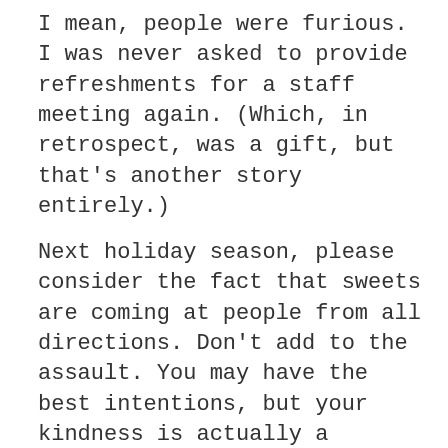I mean, people were furious. I was never asked to provide refreshments for a staff meeting again. (Which, in retrospect, was a gift, but that's another story entirely.)
Next holiday season, please consider the fact that sweets are coming at people from all directions. Don't add to the assault. You may have the best intentions, but your kindness is actually a cruelty to some of us.